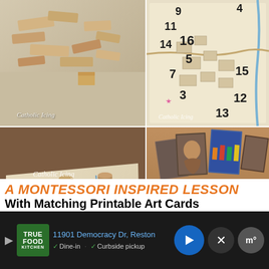[Figure (photo): Wooden blocks arranged like ancient city buildings on a white/tan surface - top view, Catholic Icing watermark]
[Figure (photo): Hand-drawn numbered map of ancient Jerusalem with numbers 3, 4, 5, 7, 9, 11, 12, 13, 14, 15, 16 marked at various locations, colored with orange and blue lines, Catholic Icing watermark]
[Figure (photo): Large aerial view of Montessori Jerusalem model built with cardboard tubes and wooden blocks on a printed map showing ancient city layout, Catholic Icing watermark]
[Figure (photo): Wooden block model of Jerusalem buildings with religious art cards/prints standing behind them on a wooden surface]
A Montessori Inspired Lesson
With Matching Printable Art Cards
11901 Democracy Dr, Reston
Dine-in  Curbside pickup